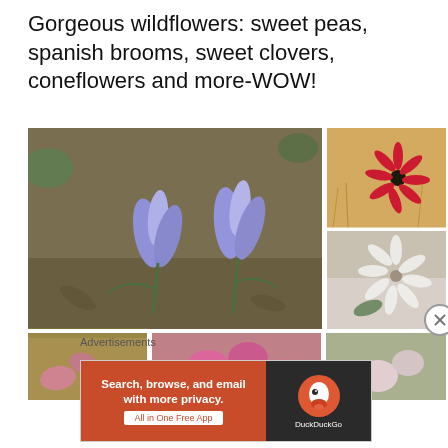Gorgeous wildflowers: sweet peas, spanish brooms, sweet clovers, coneflowers and more-WOW!
[Figure (photo): Collage of wildflower photos: large image of purple/blue crocus-like flowers on a leaf-covered ground; top-right photo of a bright red/pink coneflower against golden grass background; middle-right photo of a white fluffy flower (scabiosa); bottom-left photo showing pink wildflowers; bottom-center photo of vivid pink sweet peas; bottom-right photo of pale pink flowers.]
Advertisements
[Figure (screenshot): DuckDuckGo advertisement banner. Left side orange/red background with bold white text: 'Search, browse, and email with more privacy.' and white button 'All in One Free App'. Right side dark background with DuckDuckGo duck logo and 'DuckDuckGo' text in white.]